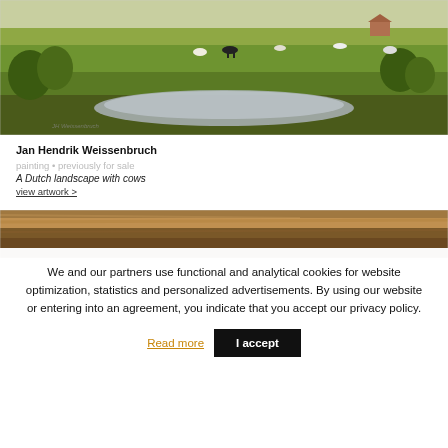[Figure (photo): Painting of a Dutch landscape with cows by Jan Hendrik Weissenbruch. Green meadows, grazing cows, a pond in the foreground, farmhouse in background.]
Jan Hendrik Weissenbruch
painting • previously for sale
A Dutch landscape with cows
view artwork >
[Figure (photo): Partial view of another painting showing a brown/golden landscape, cropped at bottom of visible area.]
We and our partners use functional and analytical cookies for website optimization, statistics and personalized advertisements. By using our website or entering into an agreement, you indicate that you accept our privacy policy.
Read more
I accept